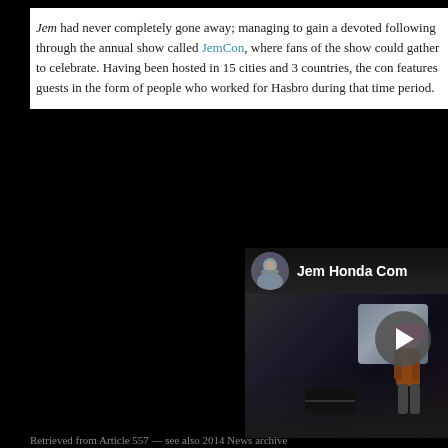Jem had never completely gone away; managing to gain a devoted following through the annual show called JemCon, where fans of the show could gather to celebrate. Having been hosted in 15 cities and 3 countries, the con features guests in the form of people who worked for Hasbro during that time period.
[Figure (screenshot): Embedded video thumbnail showing 'Jem Honda Com' with a circular avatar of a man in the top bar, and a scene of a car interior with a pink-haired female figure, with a play button overlay.]
Retrieved from Article 557 — see also 2014 News archive